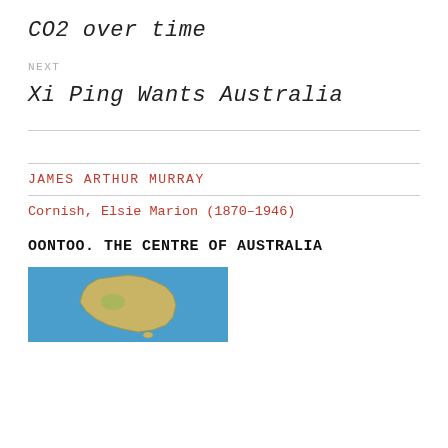CO2 over time
NEXT
Xi Ping Wants Australia
JAMES ARTHUR MURRAY
Cornish, Elsie Marion (1870-1946)
OONTOO. THE CENTRE OF AUSTRALIA
[Figure (map): Satellite/topographic map showing Australia and surrounding ocean regions]